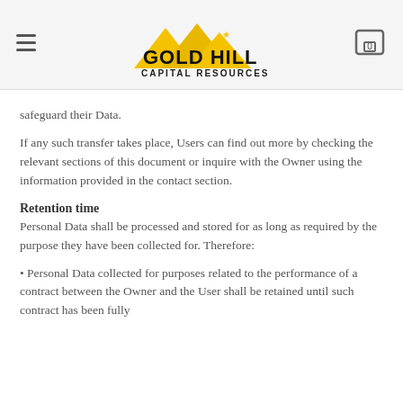Gold Hill Capital Resources
safeguard their Data.
If any such transfer takes place, Users can find out more by checking the relevant sections of this document or inquire with the Owner using the information provided in the contact section.
Retention time
Personal Data shall be processed and stored for as long as required by the purpose they have been collected for. Therefore:
• Personal Data collected for purposes related to the performance of a contract between the Owner and the User shall be retained until such contract has been fully